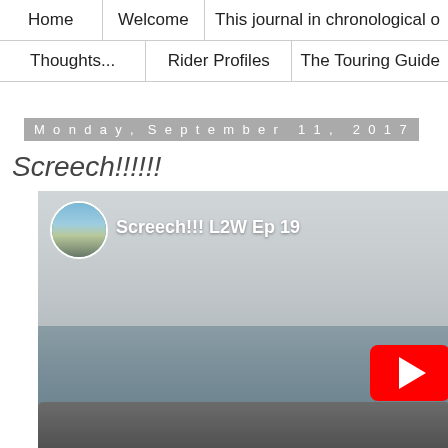Home | Welcome | This journal in chronological o... | Thoughts... | Rider Profiles | The Touring Guide
Monday, September 11, 2017
Screech!!!!!!
[Figure (screenshot): YouTube video embed showing 'Screech!!! L2W Ep 19' with a coastal scene thumbnail — foggy sky, ocean waves, rocky shore. YouTube red play button visible on right side. Channel avatar (circular) showing a road scene in top left of player.]